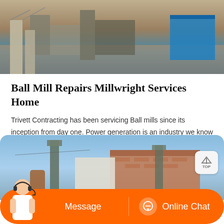[Figure (photo): Construction site photo showing heavy machinery, concrete structures, and a blue container in the background]
Ball Mill Repairs Millwright Services Home
Trivett Contracting has been servicing Ball mills since its inception from day one. Power generation is an industry we know well, we take pride in keeping your Mills rolling without issues. We have assembled the best quality team in the industry to inspect, maintain and repair Ball mills. Utilizing exceptional labor and the best equipment on the market we can provide the top
[Figure (photo): Industrial facility exterior showing ventilation equipment, towers, and a brick building against a blue sky]
Message
Online Chat